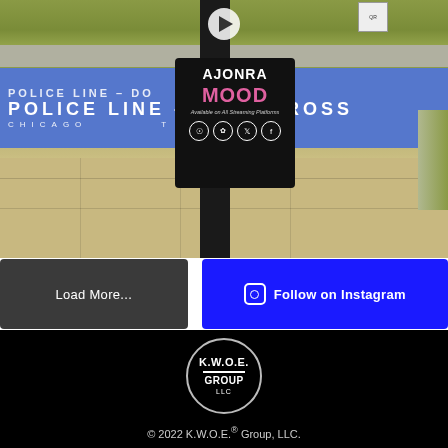[Figure (photo): Street photo showing police line tape with POLICE LINE - DO NOT CROSS text in blue/white, sidewalk and grass in background. A pole in center has a promotional sign attached for artist AJONRA with song MOOD, available on all streaming platforms, with social media icons.]
Load More...
Follow on Instagram
[Figure (logo): K.W.O.E. GROUP LLC logo in a circle outline on black background]
© 2022 K.W.O.E.® Group, LLC.